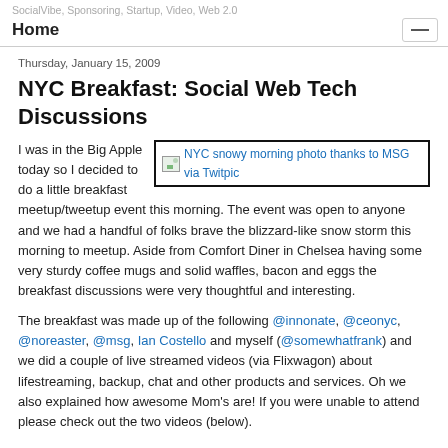SocialVibe, Sponsoring, Startup, Video, Web 2.0
Home
Thursday, January 15, 2009
NYC Breakfast: Social Web Tech Discussions
[Figure (photo): NYC snowy morning photo thanks to MSG via Twitpic]
I was in the Big Apple today so I decided to do a little breakfast meetup/tweetup event this morning. The event was open to anyone and we had a handful of folks brave the blizzard-like snow storm this morning to meetup. Aside from Comfort Diner in Chelsea having some very sturdy coffee mugs and solid waffles, bacon and eggs the breakfast discussions were very thoughtful and interesting.
The breakfast was made up of the following @innonate, @ceonyc, @noreaster, @msg, Ian Costello and myself (@somewhatfrank) and we did a couple of live streamed videos (via Flixwagon) about lifestreaming, backup, chat and other products and services. Oh we also explained how awesome Mom's are! If you were unable to attend please check out the two videos (below).